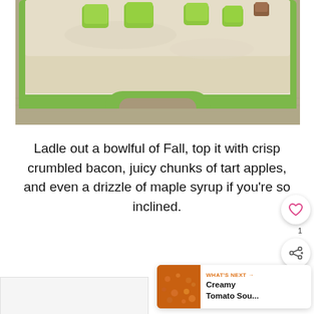[Figure (photo): A green ceramic baking dish/bowl containing creamy soup topped with green apple chunks, placed on a linen/burlap surface. The dish has a green rim and handle visible at the bottom.]
Ladle out a bowlful of Fall, top it with crisp crumbled bacon, juicy chunks of tart apples, and even a drizzle of maple syrup if you're so inclined.